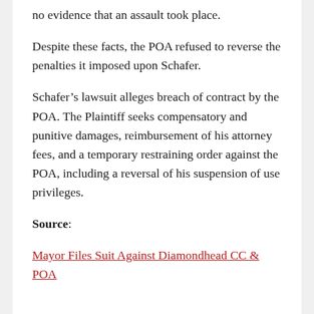no evidence that an assault took place.
Despite these facts, the POA refused to reverse the penalties it imposed upon Schafer.
Schafer’s lawsuit alleges breach of contract by the POA. The Plaintiff seeks compensatory and punitive damages, reimbursement of his attorney fees, and a temporary restraining order against the POA, including a reversal of his suspension of use privileges.
Source:
Mayor Files Suit Against Diamondhead CC & POA